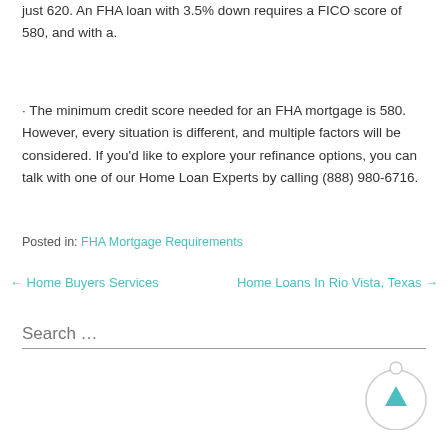just 620. An FHA loan with 3.5% down requires a FICO score of 580, and with a.
· The minimum credit score needed for an FHA mortgage is 580. However, every situation is different, and multiple factors will be considered. If you'd like to explore your refinance options, you can talk with one of our Home Loan Experts by calling (888) 980-6716.
Posted in: FHA Mortgage Requirements
← Home Buyers Services
Home Loans In Rio Vista, Texas →
Search …